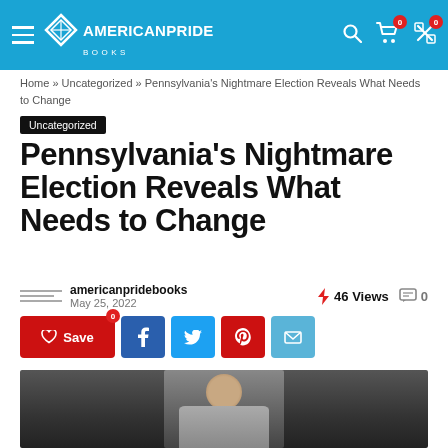American Pride Books
Home » Uncategorized » Pennsylvania's Nightmare Election Reveals What Needs to Change
Uncategorized
Pennsylvania's Nightmare Election Reveals What Needs to Change
americanpridebooks
May 25, 2022
46 Views  0
[Figure (screenshot): Social share buttons: Save, Facebook, Twitter, Pinterest, Email]
[Figure (photo): Partial photo of a person at a political event]